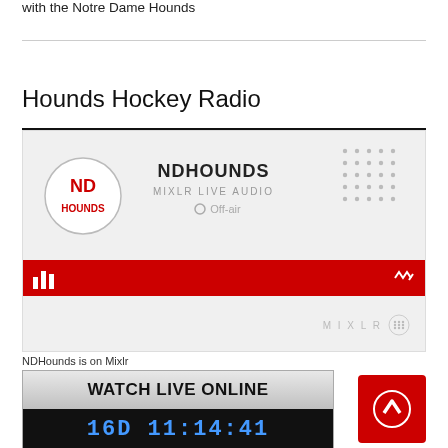with the Notre Dame Hounds
Hounds Hockey Radio
[Figure (screenshot): Mixlr live audio widget for NDHounds showing 'NDHOUNDS', 'MIXLR LIVE AUDIO', 'Off-air' status, with red control bar and MIXLR branding at bottom]
NDHounds is on Mixlr
[Figure (screenshot): WATCH LIVE ONLINE banner with countdown timer showing 16D 11:14:41]